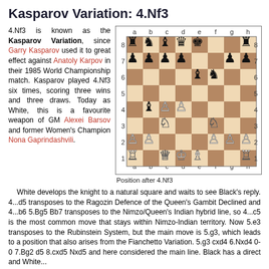Kasparov Variation: 4.Nf3
4.Nf3 is known as the Kasparov Variation, since Garry Kasparov used it to great effect against Anatoly Karpov in their 1985 World Championship match. Kasparov played 4.Nf3 six times, scoring three wins and three draws. Today as White, this is a favourite weapon of GM Alexei Barsov and former Women's Champion Nona Gaprindashvili.
[Figure (other): Chess board diagram showing position after 4.Nf3 in the Kasparov Variation of the Nimzo-Indian Defence]
Position after 4.Nf3
White develops the knight to a natural square and waits to see Black's reply. 4...d5 transposes to the Ragozin Defence of the Queen's Gambit Declined and 4...b6 5.Bg5 Bb7 transposes to the Nimzo/Queen's Indian hybrid line, so 4...c5 is the most common move that stays within Nimzo-Indian territory. Now 5.e3 transposes to the Rubinstein System, but the main move is 5.g3, which leads to a position that also arises from the Fianchetto Variation. 5.g3 cxd4 6.Nxd4 0-0 7.Bg2 d5 8.cxd5 Nxd5